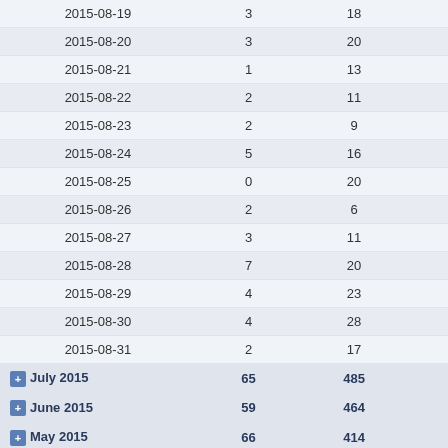| Date | Col2 | Col3 |  |
| --- | --- | --- | --- |
| 2015-08-19 | 3 | 18 |  |
| 2015-08-20 | 3 | 20 |  |
| 2015-08-21 | 1 | 13 |  |
| 2015-08-22 | 2 | 11 |  |
| 2015-08-23 | 2 | 9 |  |
| 2015-08-24 | 5 | 16 |  |
| 2015-08-25 | 0 | 20 |  |
| 2015-08-26 | 2 | 6 |  |
| 2015-08-27 | 3 | 11 |  |
| 2015-08-28 | 7 | 20 |  |
| 2015-08-29 | 4 | 23 |  |
| 2015-08-30 | 4 | 28 |  |
| 2015-08-31 | 2 | 17 |  |
| [+] July 2015 | 65 | 485 |  |
| [+] June 2015 | 59 | 464 |  |
| [+] May 2015 | 66 | 414 |  |
| [+] April 2015 | 64 | 430 |  |
| [+] March 2015 | 86 | 569 |  |